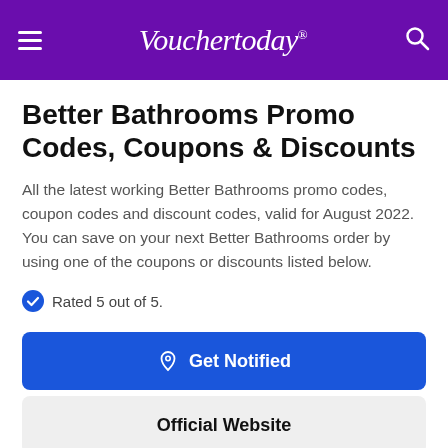Vouchertoday®
Better Bathrooms Promo Codes, Coupons & Discounts
All the latest working Better Bathrooms promo codes, coupon codes and discount codes, valid for August 2022. You can save on your next Better Bathrooms order by using one of the coupons or discounts listed below.
Rated 5 out of 5.
Get Notified
Official Website